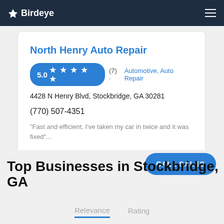Birdeye
North Henry Auto Repair
5.0 ★ ★ ★ ★ ★ (7) · Automotive, Auto Repair
4428 N Henry Blvd, Stockbridge, GA 30281
(770) 507-4351
"Fast and efficient. I've taken my car in twice and it was fixed"...
Top Businesses in Stockbridge, GA
Relevance  Rating